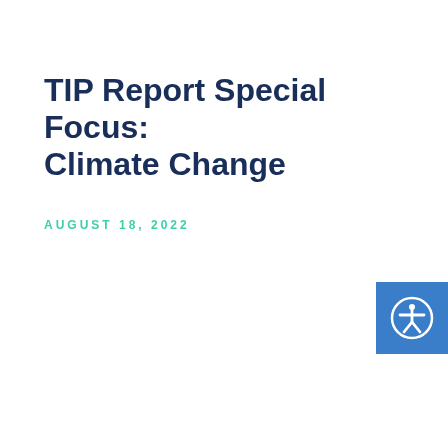TIP Report Special Focus: Climate Change
AUGUST 18, 2022
[Figure (logo): Accessibility icon — white figure with arms and legs outstretched inside a circle, on a blue square background]